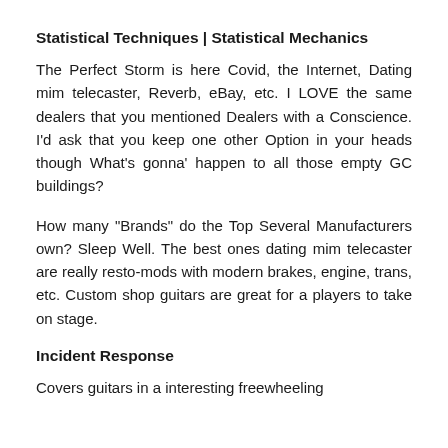Statistical Techniques | Statistical Mechanics
The Perfect Storm is here Covid, the Internet, Dating mim telecaster, Reverb, eBay, etc. I LOVE the same dealers that you mentioned Dealers with a Conscience. I'd ask that you keep one other Option in your heads though What's gonna' happen to all those empty GC buildings?
How many "Brands" do the Top Several Manufacturers own? Sleep Well. The best ones dating mim telecaster are really resto-mods with modern brakes, engine, trans, etc. Custom shop guitars are great for a players to take on stage.
Incident Response
Covers guitars in a interesting freewheeling